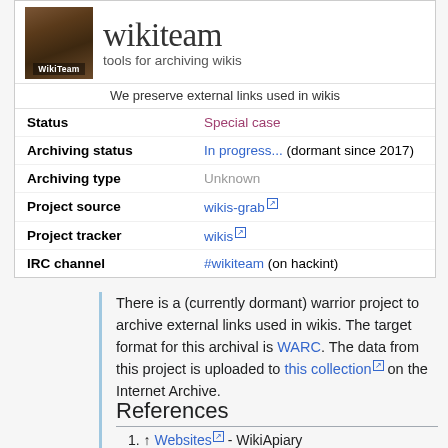[Figure (logo): WikiTeam logo with brown tones image and text 'WikiTeam' below]
wikiteam
tools for archiving wikis
We preserve external links used in wikis
| Status | Special case |
| Archiving status | In progress... (dormant since 2017) |
| Archiving type | Unknown |
| Project source | wikis-grab [ext] |
| Project tracker | wikis [ext] |
| IRC channel | #wikiteam (on hackint) |
There is a (currently dormant) warrior project to archive external links used in wikis. The target format for this archival is WARC. The data from this project is uploaded to this collection [ext] on the Internet Archive.
References
↑ Websites [ext] - WikiApiary